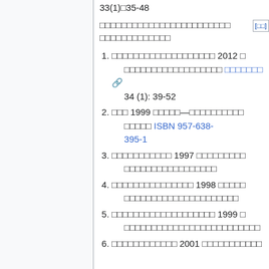33(1)□35-48
□□□□□□□□□□□□□□□□□□□□□□□□ [□□] □□□□□□□□□□□□□
□□□□□□□□□□□□□□□□□□□ 2012 □ □□□□□□□□□□□□□□□□□□□□ □□□□□□□ 34 (1): 39-52
□□□ 1999 □□□□□—□□□□□□□□□□□□□□□□□□ ISBN 957-638-395-1
□□□□□□□□□□□ 1997 □□□□□□□□□ □□□□□□□□□□□□□□□□□
□□□□□□□□□□□□□□□ 1998 □□□□□ □□□□□□□□□□□□□□□□□□□□□
□□□□□□□□□□□□□□□□□□□ 1999 □ □□□□□□□□□□□□□□□□□□□□□□□□□
□□□□□□□□□□□□ 2001 □□□□□□□□□□□